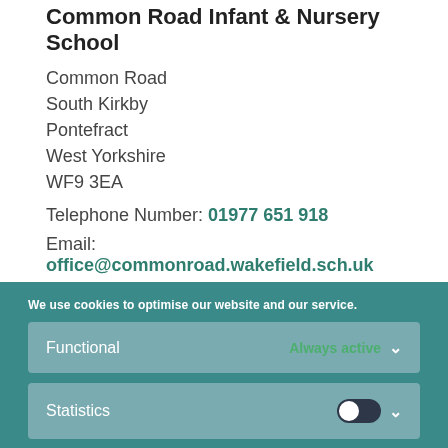Common Road Infant & Nursery School
Common Road
South Kirkby
Pontefract
West Yorkshire
WF9 3EA
Telephone Number: 01977 651 918
Email: office@commonroad.wakefield.sch.uk
We use cookies to optimise our website and our service.
Functional — Always active
Statistics
Marketing